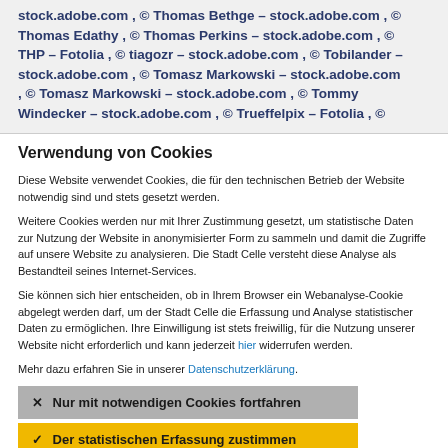stock.adobe.com , © Thomas Bethge – stock.adobe.com , © Thomas Edathy , © Thomas Perkins – stock.adobe.com , © THP – Fotolia , © tiagozr – stock.adobe.com , © Tobilander – stock.adobe.com , © Tomasz Markowski – stock.adobe.com , © Tomasz Markowski – stock.adobe.com , © Tommy Windecker – stock.adobe.com , © Trueffelpix – Fotolia , ©
Verwendung von Cookies
Diese Website verwendet Cookies, die für den technischen Betrieb der Website notwendig sind und stets gesetzt werden.
Weitere Cookies werden nur mit Ihrer Zustimmung gesetzt, um statistische Daten zur Nutzung der Website in anonymisierter Form zu sammeln und damit die Zugriffe auf unsere Website zu analysieren. Die Stadt Celle versteht diese Analyse als Bestandteil seines Internet-Services.
Sie können sich hier entscheiden, ob in Ihrem Browser ein Webanalyse-Cookie abgelegt werden darf, um der Stadt Celle die Erfassung und Analyse statistischer Daten zu ermöglichen. Ihre Einwilligung ist stets freiwillig, für die Nutzung unserer Website nicht erforderlich und kann jederzeit hier widerrufen werden.
Mehr dazu erfahren Sie in unserer Datenschutzerklärung.
✕  Nur mit notwendigen Cookies fortfahren
✓  Der statistischen Erfassung zustimmen